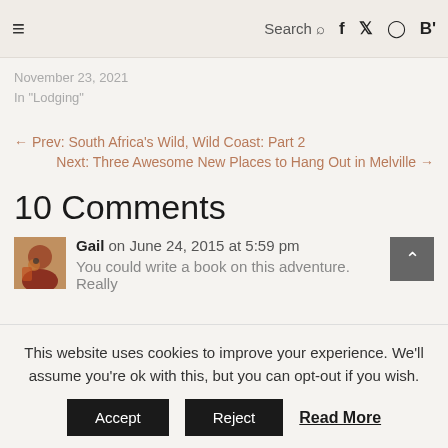≡   Search 🔍  f  𝕏  ⬜  B'
November 23, 2021
In "Lodging"
← Prev: South Africa's Wild, Wild Coast: Part 2
Next: Three Awesome New Places to Hang Out in Melville →
10 Comments
Gail on June 24, 2015 at 5:59 pm
You could write a book on this adventure. Really
This website uses cookies to improve your experience. We'll assume you're ok with this, but you can opt-out if you wish. Accept Reject Read More